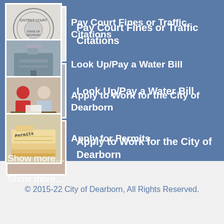Pay Court Fines or Traffic Citations
Look Up/Pay a Water Bill
Apply to Work for the City of Dearborn
Apply for Permits
Show more...
© 2015-22 City of Dearborn, All Rights Reserved.